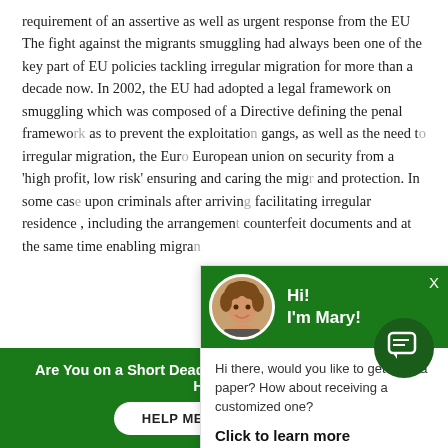requirement of an assertive as well as urgent response from the EU The fight against the migrants smuggling had always been one of the key part of EU policies tackling irregular migration for more than a decade now. In 2002, the EU had adopted a legal framework on smuggling which was composed of a Directive defining the penal framework as to prevent the exploitation gangs, as well as the need to irregular migration, the Euro European union on security from a 'high profit, low risk' ensuring and caring the mig and protection. In some cas upon criminals after arriving facilitating irregular residence , including the arrangement counterfeit documents and at the same time enabling migra
[Figure (other): Chat popup overlay with green header showing avatar of a woman with curly hair and text 'Hi! I'm Mary!', body text 'Hi there, would you like to get such a paper? How about receiving a customized one?', and a bold 'Click to learn more' call to action link.]
[Figure (other): Green circular chat icon button in bottom right]
Are You on a Short Deadline? Let a Professional Writer Help You
HELP ME WITH WRITING